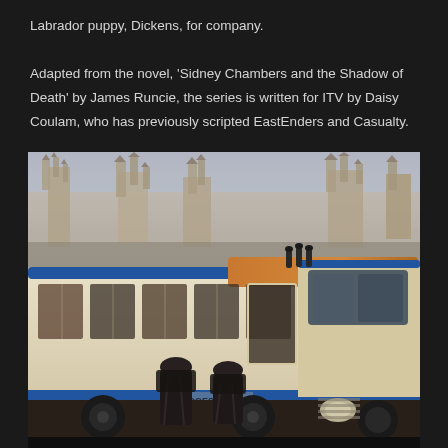Labrador puppy, Dickens, for company.
Adapted from the novel, 'Sidney Chambers and the Shadow of Death' by James Runcie, the series is written for ITV by Daisy Coulam, who has previously scripted EastEnders and Casualty.
[Figure (photo): A vintage cream and blue coach bus (with 'LODGES' branding) parked in front of a Cambridge-style Gothic university building with ornate spires and towers. Two figures in dark academic gowns are seen from behind approaching the bus.]